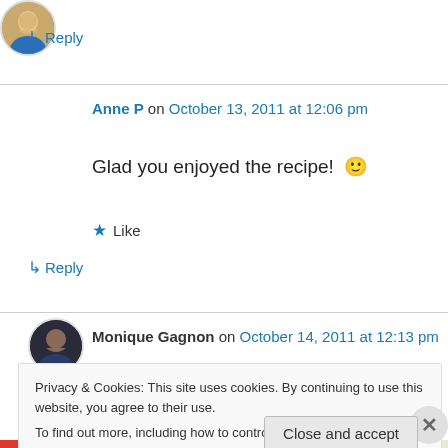↳ Reply
Anne P on October 13, 2011 at 12:06 pm
Glad you enjoyed the recipe! 🙂
★ Like
↳ Reply
Monique Gagnon on October 14, 2011 at 12:13 pm
Privacy & Cookies: This site uses cookies. By continuing to use this website, you agree to their use. To find out more, including how to control cookies, see here: Cookie Policy
Close and accept